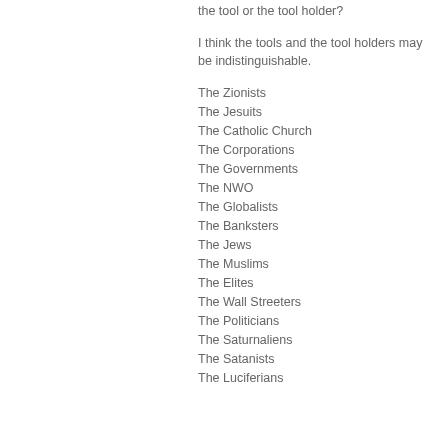the tool or the tool holder?
I think the tools and the tool holders may be indistinguishable.
The Zionists
The Jesuits
The Catholic Church
The Corporations
The Governments
The NWO
The Globalists
The Banksters
The Jews
The Muslims
The Elites
The Wall Streeters
The Politicians
The Saturnaliens
The Satanists
The Luciferians